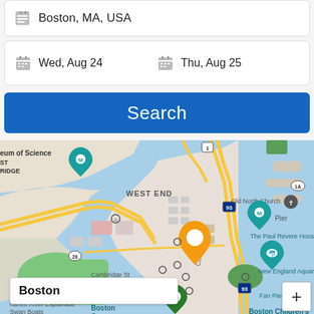Boston, MA, USA
Wed, Aug 24   Thu, Aug 25
Search
[Figure (map): Google Maps view of Boston showing West End, Old North Church, The Paul Revere House, New England Aquarium, Massachusetts area, Cambridge St, Charles River Esplanade, Swan Boats, Boston Common, Fan Pier Park, Boston Children's Museum, and highway routes 1, 93, 1A, 28. A yellow location pin is shown near Congress St. Museum of Science and Cambridge Ridge visible top-left.]
Boston